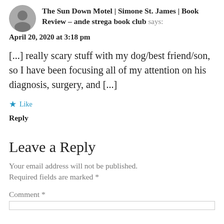The Sun Down Motel | Simone St. James | Book Review – ande strega book club says:
April 20, 2020 at 3:18 pm
[...] really scary stuff with my dog/best friend/son, so I have been focusing all of my attention on his diagnosis, surgery, and [...]
★ Like
Reply
Leave a Reply
Your email address will not be published. Required fields are marked *
Comment *